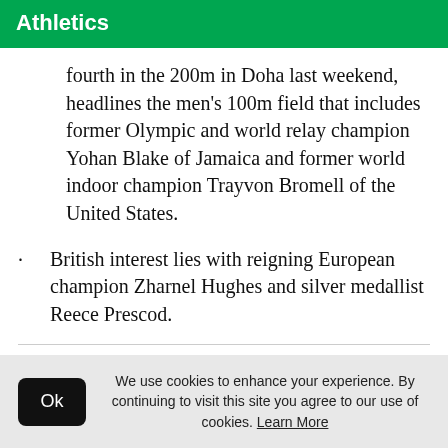Athletics
fourth in the 200m in Doha last weekend, headlines the men's 100m field that includes former Olympic and world relay champion Yohan Blake of Jamaica and former world indoor champion Trayvon Bromell of the United States.
British interest lies with reigning European champion Zharnel Hughes and silver medallist Reece Prescod.
We use cookies to enhance your experience. By continuing to visit this site you agree to our use of cookies. Learn More